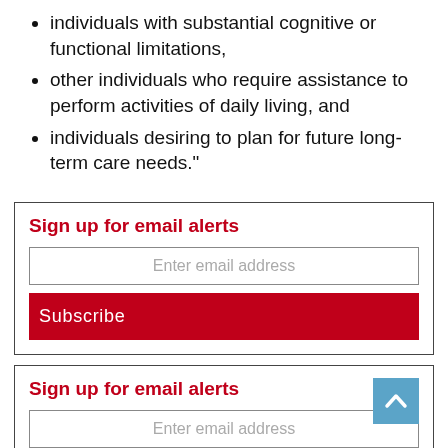individuals with substantial cognitive or functional limitations,
other individuals who require assistance to perform activities of daily living, and
individuals desiring to plan for future long-term care needs."
Sign up for email alerts
Enter email address
Subscribe
Sign up for email alerts
Enter email address
Subscribe